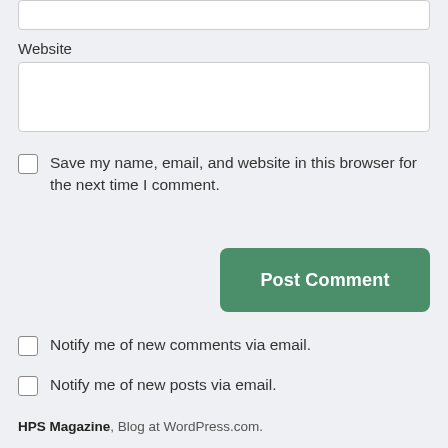Website
Save my name, email, and website in this browser for the next time I comment.
Post Comment
Notify me of new comments via email.
Notify me of new posts via email.
HPS Magazine, Blog at WordPress.com.